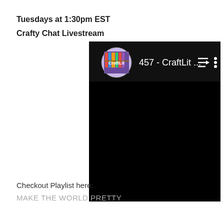Tuesdays at 1:30pm EST
Crafty Chat Livestream
[Figure (screenshot): Screenshot of a YouTube/video player interface showing a CraftLit channel icon (circular thumbnail with bookshelf), text '457 - CraftLit ...' with playlist and more options icons, on a black background.]
Checkout Playlist here:
MAKE THE WORLD PRETTY